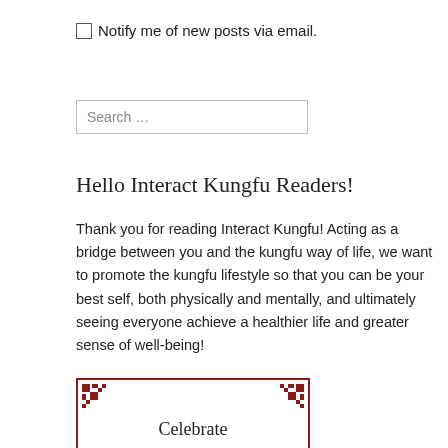Notify me of new posts via email.
Search …
Hello Interact Kungfu Readers!
Thank you for reading Interact Kungfu! Acting as a bridge between you and the kungfu way of life, we want to promote the kungfu lifestyle so that you can be your best self, both physically and mentally, and ultimately seeing everyone achieve a healthier life and greater sense of well-being!
[Figure (illustration): Decorative red bordered box with traditional Chinese corner ornaments and the text 'Celebrate' inside]